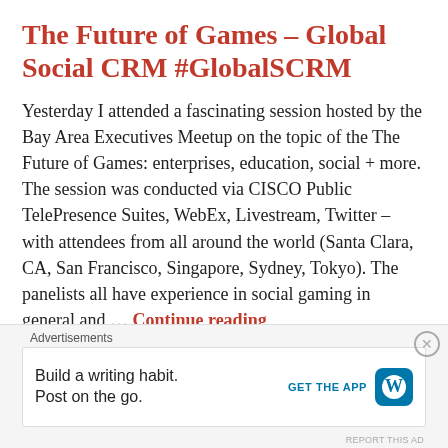The Future of Games – Global Social CRM #GlobalSCRM
Yesterday I attended a fascinating session hosted by the Bay Area Executives Meetup on the topic of the The Future of Games: enterprises, education, social + more. The session was conducted via CISCO Public TelePresence Suites, WebEx, Livestream, Twitter – with attendees from all around the world (Santa Clara, CA, San Francisco, Singapore, Sydney, Tokyo). The panelists all have experience in social gaming in general and … Continue reading
21 OCTOBER 2010
Advertisements
Build a writing habit. Post on the go. GET THE APP